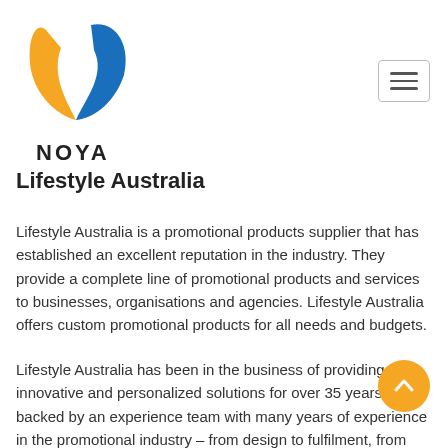[Figure (logo): NOYA logo — stylized orange and blue N with lightning bolt, text 'NOYA' below]
[Figure (other): Hamburger menu icon (three horizontal lines in a rounded rectangle border)]
Lifestyle Australia
Lifestyle Australia is a promotional products supplier that has established an excellent reputation in the industry. They provide a complete line of promotional products and services to businesses, organisations and agencies. Lifestyle Australia offers custom promotional products for all needs and budgets.
Lifestyle Australia has been in the business of providing innovative and personalized solutions for over 35 years. It's backed by an experience team with many years of experience in the promotional industry – from design to fulfilment, from product development to branding, from
[Figure (other): Orange circular scroll-to-top button with white chevron arrow pointing up]